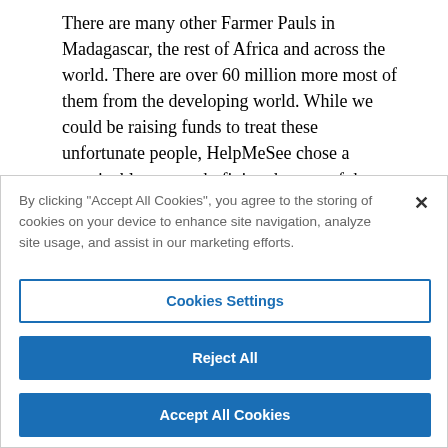There are many other Farmer Pauls in Madagascar, the rest of Africa and across the world. There are over 60 million more most of them from the developing world. While we could be raising funds to treat these unfortunate people, HelpMeSee chose a sustainable approach, fixing the root of the problem, the shortage of
By clicking "Accept All Cookies", you agree to the storing of cookies on your device to enhance site navigation, analyze site usage, and assist in our marketing efforts.
Cookies Settings
Reject All
Accept All Cookies